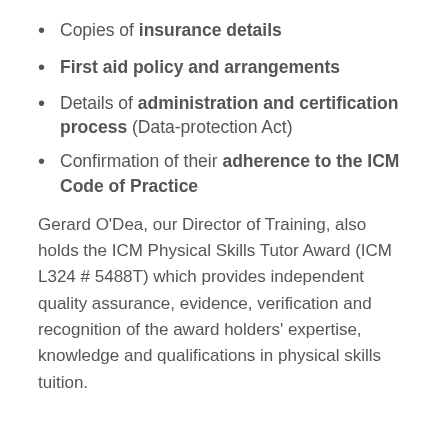Copies of insurance details
First aid policy and arrangements
Details of administration and certification process (Data-protection Act)
Confirmation of their adherence to the ICM Code of Practice
Gerard O'Dea, our Director of Training, also holds the ICM Physical Skills Tutor Award (ICM L324 # 5488T) which provides independent quality assurance, evidence, verification and recognition of the award holders' expertise, knowledge and qualifications in physical skills tuition.